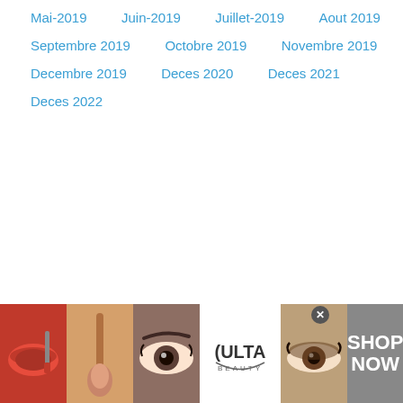Mai-2019
Juin-2019
Juillet-2019
Aout 2019
Septembre 2019
Octobre 2019
Novembre 2019
Decembre 2019
Deces 2020
Deces 2021
Deces 2022
[Figure (infographic): Advertisement banner for ULTA Beauty showing makeup photos (lips, brush, eye close-ups), ULTA Beauty logo, and SHOP NOW text with a close button]